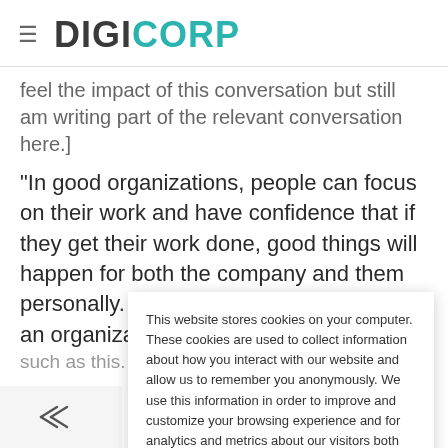DIGICORP
feel the impact of this conversation but still am writing part of the relevant conversation here.]
“In good organizations, people can focus on their work and have confidence that if they get their work done, good things will happen for both the company and them personally. It is a true pleasure to work in an organization such as this. Every person can wake up knowing that the
This website stores cookies on your computer. These cookies are used to collect information about how you interact with our website and allow us to remember you anonymously. We use this information in order to improve and customize your browsing experience and for analytics and metrics about our visitors both on this website and other media. To find out more about the cookies we use, see our Privacy Policy.
Accept